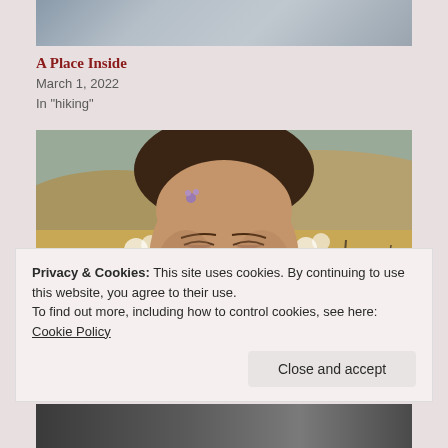[Figure (photo): Top portion of a photo showing people with blond/brown hair, cropped at top of page]
A Place Inside
March 1, 2022
In "hiking"
[Figure (photo): Woman with dark hair and small purple flowers in her hair, eyes closed, outdoors with golden grasses and bare trees in background]
Privacy & Cookies: This site uses cookies. By continuing to use this website, you agree to their use.
To find out more, including how to control cookies, see here:
Cookie Policy
[Figure (photo): Bottom strip of another photo showing trees, partially visible at bottom of page]